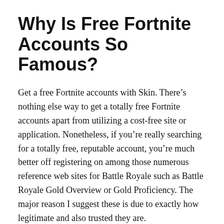Why Is Free Fortnite Accounts So Famous?
Get a free Fortnite accounts with Skin. There’s nothing else way to get a totally free Fortnite accounts apart from utilizing a cost-free site or application. Nonetheless, if you’re really searching for a totally free, reputable account, you’re much better off registering on among those numerous reference web sites for Battle Royale such as Battle Royale Gold Overview or Gold Proficiency. The major reason I suggest these is due to exactly how legitimate and also trusted they are.
Alright, so securing free fortnite accounts with